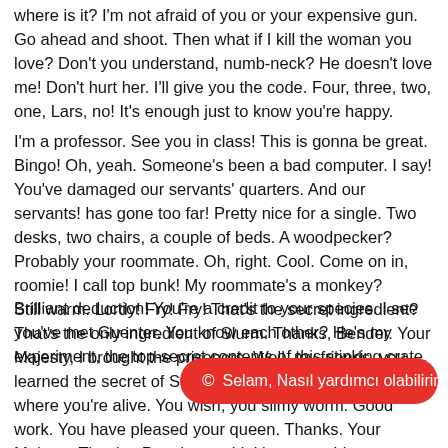where is it? I'm not afraid of you or your expensive gun. Go ahead and shoot. Then what if I kill the woman you love? Don't you understand, numb-neck? He doesn't love me! Don't hurt her. I'll give you the code. Four, three, two, one, Lars, no! It's enough just to know you're happy.
I'm a professor. See you in class! This is gonna be great. Bingo! Oh, yeah. Someone's been a bad computer. I say! You've damaged our servants' quarters. And our servants! has gone too far! Pretty nice for a single. Two desks, two chairs, a couple of beds. A woodpecker? Probably your roommate. Oh, right. Cool. Come on in, roomie! I call top bunk! My roommate's a monkey? Brilliant deduction! You're a credit to your species. I see you've met Guenter. You know each other? He's my experiment, the top-secret contents of this stinking crate.
Still warm. Lordy! Fry! Fry! That's the secret ingredient? That's the only ingredient of Slurm. Thanks, Bender. Your Majesty, I brought the prisoners. Well, my friends, you learned the secret of Slurm. That concludes the part where you're alive. You wish, you slimy worm. Good work. You have pleased your queen. Thanks. Your Majesty. Thanks. People are drinking something ... comes from a bee's behind. Milk is from a cow's behind. Whose behind is
© Selam, Nasıl yardımcı olabilirim?